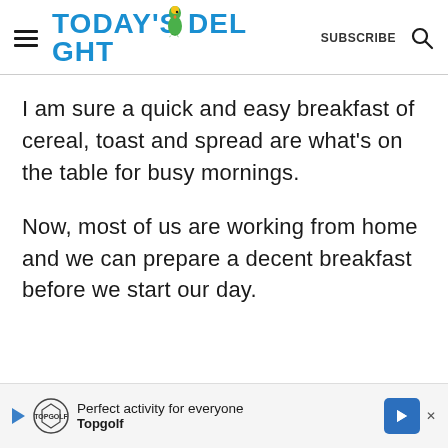TODAY'S DELIGHT — SUBSCRIBE
I am sure a quick and easy breakfast of cereal, toast and spread are what's on the table for busy mornings.
Now, most of us are working from home and we can prepare a decent breakfast before we start our day.
[Figure (other): Advertisement banner for Topgolf: 'Perfect activity for everyone — Topgolf']